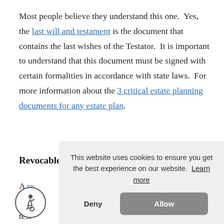Most people believe they understand this one.  Yes, the last will and testament is the document that contains the last wishes of the Testator.  It is important to understand that this document must be signed with certain formalities in accordance with state laws.  For more information about the 3 critical estate planning documents for any estate plan.
Revocable Living Trust
A re... way... test... (bv...
This website uses cookies to ensure you get the best experience on our website.  Learn more
Deny  Allow